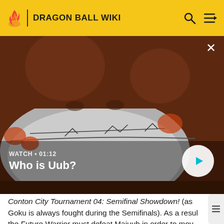DRAGON BALL WIKI
[Figure (screenshot): Animated Dragon Ball character close-up with a video player overlay showing 'WATCH • 01:12 / Who is Uub?' with a play button]
Conton City Tournament 04: Semifinal Showdown! (as Goku is always fought during the Semifinals). As a result the Future Warrior must defeat Majuub in order to move on to face Goku in the Semifinals (or switch to a different mentor) in the 1st & 2nd Conton City Tournaments. After unlocking Supreme Kai of Time Chronoa and the 3rd